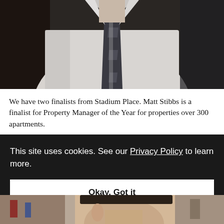[Figure (photo): A man wearing a white dress shirt and a dark striped tie, photographed from the chest/neck area upward. The face is cropped out at the top. Dark blurred background.]
We have two finalists from Stadium Place. Matt Stibbs is a finalist for Property Manager of the Year for properties over 300 apartments.
This site uses cookies. See our Privacy Policy to learn more.
Okay, Got it
[Figure (photo): A partial view of a man's face (lower portion visible) with dark hair, in front of a blurred colorful background.]